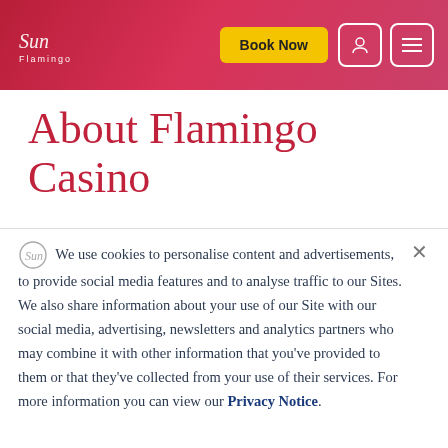Sun Flamingo — Book Now header
About Flamingo Casino
We use cookies to personalise content and advertisements, to provide social media features and to analyse traffic to our Sites. We also share information about your use of our Site with our social media, advertising, newsletters and analytics partners who may combine it with other information that you've provided to them or that they've collected from your use of their services. For more information you can view our Privacy Notice.